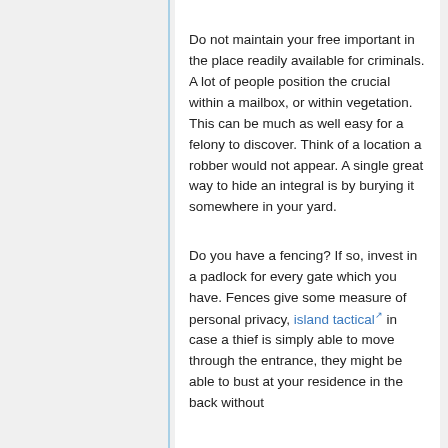Do not maintain your free important in the place readily available for criminals. A lot of people position the crucial within a mailbox, or within vegetation. This can be much as well easy for a felony to discover. Think of a location a robber would not appear. A single great way to hide an integral is by burying it somewhere in your yard.
Do you have a fencing? If so, invest in a padlock for every gate which you have. Fences give some measure of personal privacy, island tactical in case a thief is simply able to move through the entrance, they might be able to bust at your residence in the back without